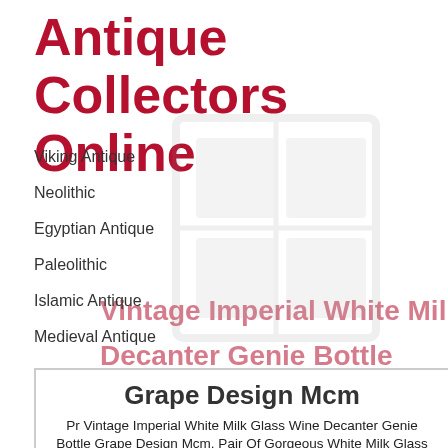Antique Collectors Online
Viking Antique
Neolithic
Egyptian Antique
Paleolithic
Islamic Antique
Medieval Antique
Vintage Imperial White Milk Glass Wine Decanter Genie Bottle Grape Design Mcm
Pr Vintage Imperial White Milk Glass Wine Decanter Genie Bottle Grape Design Mcm. Pair Of Gorgeous White Milk Glass